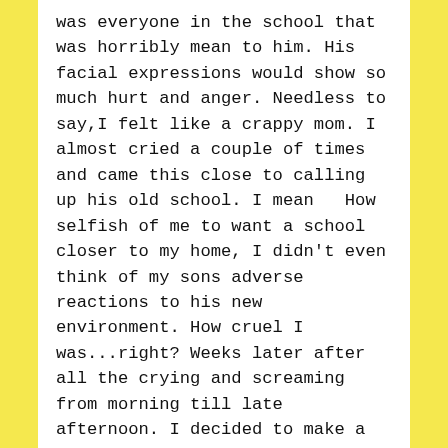was everyone in the school that was horribly mean to him. His facial expressions would show so much hurt and anger. Needless to say,I felt like a crappy mom. I almost cried a couple of times and came this close to calling up his old school. I mean  How selfish of me to want a school closer to my home, I didn't even think of my sons adverse reactions to his new environment. How cruel I was...right? Weeks later after all the crying and screaming  from morning till late afternoon. I decided to make a surprise visit to his school. As I walked inside the assistant teacher was walking out. How's baby boy? I asked preparing to hear bad news........ Oh he's fine, she says to me he loves school!  I was confused . She explained further,